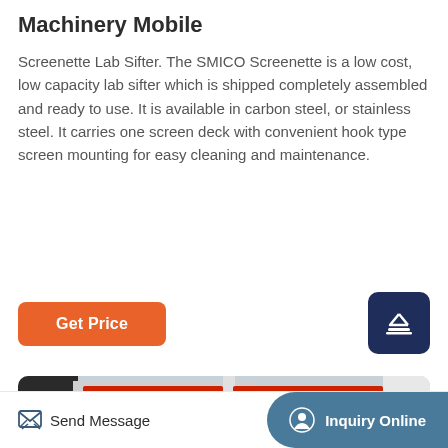Machinery Mobile
Screenette Lab Sifter. The SMICO Screenette is a low cost, low capacity lab sifter which is shipped completely assembled and ready to use. It is available in carbon steel, or stainless steel. It carries one screen deck with convenient hook type screen mounting for easy cleaning and maintenance.
[Figure (photo): Industrial red and white machinery equipment, showing multiple red metal panels/components against a white background]
Send Message | Inquiry Online